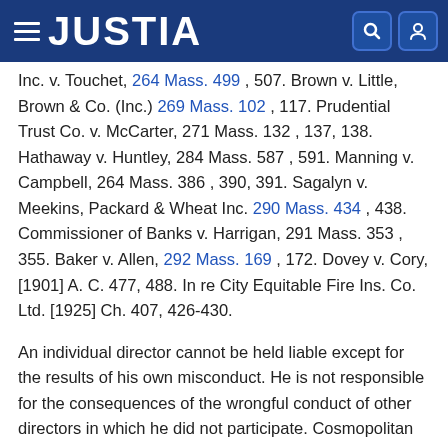JUSTIA
Inc. v. Touchet, 264 Mass. 499, 507. Brown v. Little, Brown & Co. (Inc.) 269 Mass. 102, 117. Prudential Trust Co. v. McCarter, 271 Mass. 132, 137, 138. Hathaway v. Huntley, 284 Mass. 587, 591. Manning v. Campbell, 264 Mass. 386, 390, 391. Sagalyn v. Meekins, Packard & Wheat Inc. 290 Mass. 434, 438. Commissioner of Banks v. Harrigan, 291 Mass. 353, 355. Baker v. Allen, 292 Mass. 169, 172. Dovey v. Cory, [1901] A. C. 477, 488. In re City Equitable Fire Ins. Co. Ltd. [1925] Ch. 407, 426-430.
An individual director cannot be held liable except for the results of his own misconduct. He is not responsible for the consequences of the wrongful conduct of other directors in which he did not participate. Cosmopolitan Trust Co. v. Mitchell, 242 Mass. 95, 122. Prudential Trust Co. v. McCarter, 271 Mass. 132, 138.
It was said in Geddes v. Anaconda Copper Mining Co. 254